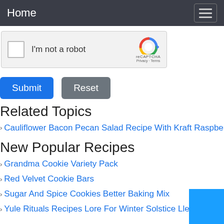Home
[Figure (screenshot): reCAPTCHA widget with checkbox labeled 'I'm not a robot' and reCAPTCHA logo with Privacy and Terms links]
[Figure (other): Submit button (blue) and Reset button (gray)]
Related Topics
Cauliflower Bacon Pecan Salad Recipe With Kraft Raspberry
New Popular Recipes
Grandma Cookie Variety Pack
Red Velvet Cookie Bars
Sugar And Spice Cookies Better Baking Mix
Yule Rituals Recipes Lore For Winter Solstice Llewellyns